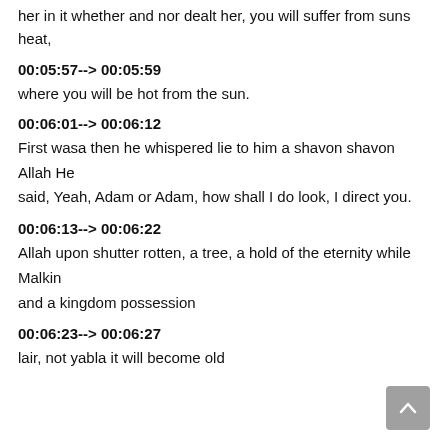her in it whether and nor dealt her, you will suffer from suns heat,
00:05:57--> 00:05:59
where you will be hot from the sun.
00:06:01--> 00:06:12
First wasa then he whispered lie to him a shavon shavon Allah He said, Yeah, Adam or Adam, how shall I do look, I direct you.
00:06:13--> 00:06:22
Allah upon shutter rotten, a tree, a hold of the eternity while Malkin and a kingdom possession
00:06:23--> 00:06:27
lair, not yabla it will become old